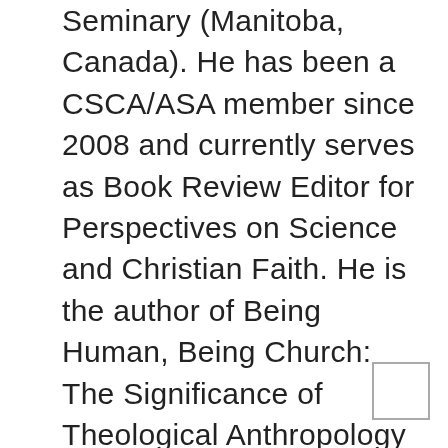Seminary (Manitoba, Canada). He has been a CSCA/ASA member since 2008 and currently serves as Book Review Editor for Perspectives on Science and Christian Faith. He is the author of Being Human, Being Church: The Significance of Theological Anthropology for Ecclesiology (Paternoster, 2016) and several academic articles and book chapters. He and his wife lead a small church community in Mitchell, Manitoba affiliated with the Evangelical Covenant Church of Canada. An experienced pastor, church leader, professor, and scholar, Patrick is passionate about encouraging and facilitating deeper dialogue between the scientific community and local churches and pastors. To this end, he is intentional about building